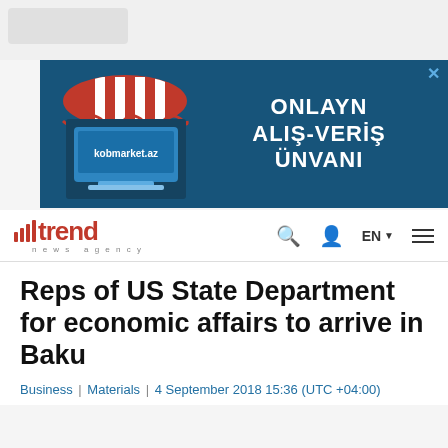[Figure (other): Advertisement banner for kobmarket.az showing a storefront illustration with red and white striped awning and text 'ONLAYN ALIŞ-VERİŞ ÜNVANI' on dark blue background]
trend news agency | Q | EN | menu
Reps of US State Department for economic affairs to arrive in Baku
Business | Materials | 4 September 2018 15:36 (UTC +04:00)